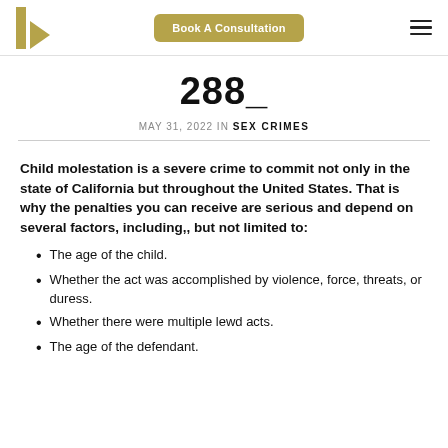Book A Consultation
288_
MAY 31, 2022 IN SEX CRIMES
Child molestation is a severe crime to commit not only in the state of California but throughout the United States. That is why the penalties you can receive are serious and depend on several factors, including,, but not limited to:
The age of the child.
Whether the act was accomplished by violence, force, threats, or duress.
Whether there were multiple lewd acts.
The age of the defendant.